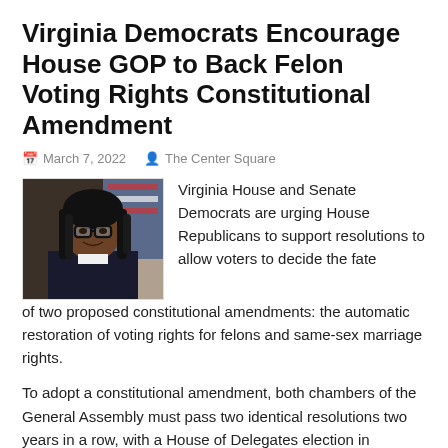Virginia Democrats Encourage House GOP to Back Felon Voting Rights Constitutional Amendment
March 7, 2022   The Center Square
[Figure (photo): Headshot photo of a woman with glasses and dreadlocks, wearing a blazer, with an American flag visible in the background]
Virginia House and Senate Democrats are urging House Republicans to support resolutions to allow voters to decide the fate of two proposed constitutional amendments: the automatic restoration of voting rights for felons and same-sex marriage rights.
To adopt a constitutional amendment, both chambers of the General Assembly must pass two identical resolutions two years in a row, with a House of Delegates election in between those years. If approved in the Legislature, the proposed amendment would appear on the general ballot during the fall elections. If supported by the majority of voters, the proposed amendment would be adopted.